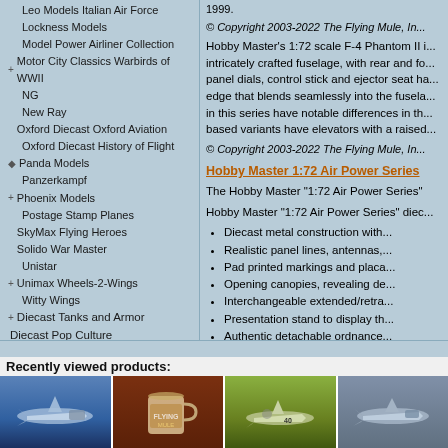Leo Models Italian Air Force
Lockness Models
Model Power Airliner Collection
Motor City Classics Warbirds of WWII
NG
New Ray
Oxford Diecast Oxford Aviation
Oxford Diecast History of Flight
Panda Models
Panzerkampf
Phoenix Models
Postage Stamp Planes
SkyMax Flying Heroes
Solido War Master
Unistar
Unimax Wheels-2-Wings
Witty Wings
Diecast Tanks and Armor
Diecast Pop Culture
Diecast Ships
Diecast Trucks
Display Models
Figures
Model Display Accessories
© Copyright 2003-2022 The Flying Mule, In...
Hobby Master's 1:72 scale F-4 Phantom II i... intricately crafted fuselage, with rear and fo... panel dials, control stick and ejector seat ha... edge that blends seamlessly into the fusela... in this series have notable differences in th... based variants have elevators with a raised...
© Copyright 2003-2022 The Flying Mule, In...
Hobby Master 1:72 Air Power Series
The Hobby Master "1:72 Air Power Series"
Hobby Master "1:72 Air Power Series" diec...
Diecast metal construction with...
Realistic panel lines, antennas,...
Pad printed markings and placa...
Opening canopies, revealing de...
Interchangeable extended/retra...
Presentation stand to display th...
Authentic detachable ordnance...
Accurately detailed underside w...
© Copyright 2003-2022 The Flying Mule, In...
Recently viewed products:
[Figure (photo): Model aircraft (fighter jet) on display stand, blue background]
[Figure (photo): Coffee mug with aviation artwork, dark brown background]
[Figure (photo): P-51 Mustang model aircraft, green/yellow background]
[Figure (photo): Navy aircraft model, grey-blue background]